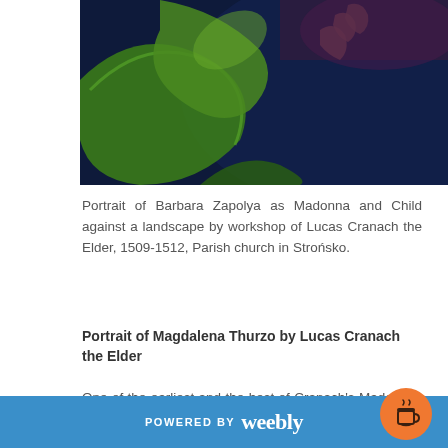[Figure (photo): Cropped painting showing green foliage and partial hands/figures against a dark blue background, likely detail from Portrait of Barbara Zapolya as Madonna and Child against a landscape by workshop of Lucas Cranach the Elder, 1509-1512]
Portrait of Barbara Zapolya as Madonna and Child against a landscape by workshop of Lucas Cranach the Elder, 1509-1512, Parish church in Strońsko.
Portrait of Magdalena Thurzo by Lucas Cranach the Elder
One of the earliest and the best of Cranach's Madonnas is in the Archdiocesan Museum in Wrocław. The work was initially in the Cathedral of St. John the Baptist in Wrocław and is believed to have been offered there in 1517 by John V Thurzo, Prince-Bishop of Wrocław, who also founded a new sacristy portal, considered to be the first work...
POWERED BY weebly